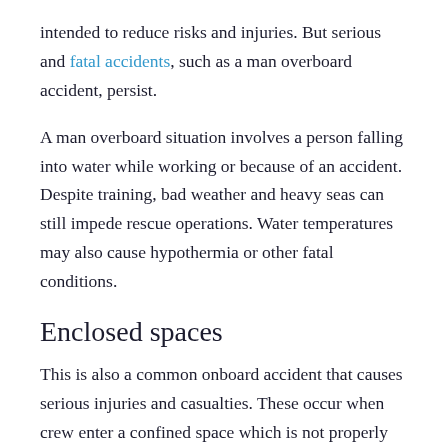intended to reduce risks and injuries. But serious and fatal accidents, such as a man overboard accident, persist.
A man overboard situation involves a person falling into water while working or because of an accident. Despite training, bad weather and heavy seas can still impede rescue operations. Water temperatures may also cause hypothermia or other fatal conditions.
Enclosed spaces
This is also a common onboard accident that causes serious injuries and casualties. These occur when crew enter a confined space which is not properly free of gas and contains